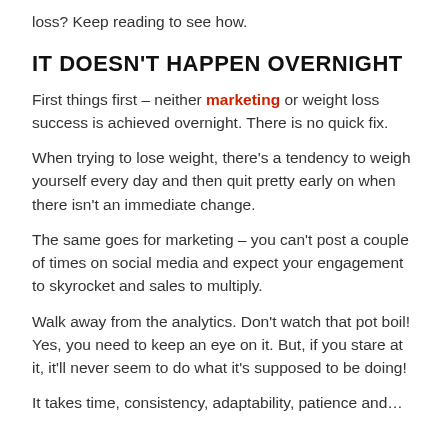loss? Keep reading to see how.
IT DOESN'T HAPPEN OVERNIGHT
First things first – neither marketing or weight loss success is achieved overnight. There is no quick fix.
When trying to lose weight, there's a tendency to weigh yourself every day and then quit pretty early on when there isn't an immediate change.
The same goes for marketing – you can't post a couple of times on social media and expect your engagement to skyrocket and sales to multiply.
Walk away from the analytics. Don't watch that pot boil! Yes, you need to keep an eye on it. But, if you stare at it, it'll never seem to do what it's supposed to be doing!
It takes time, consistency, adaptability, patience and…